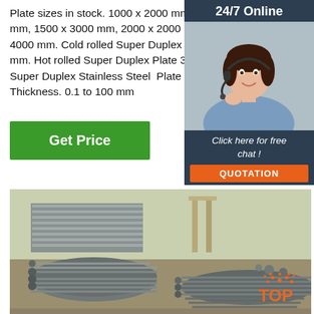Plate sizes in stock. 1000 x 2000 mm, 1220 x 2440 mm, 1500 x 3000 mm, 2000 x 2000 mm, 2000 x 4000 mm. Cold rolled Super Duplex Plate 0.5-6.4 mm. Hot rolled Super Duplex Plate 3.0–10.0 mm. Super Duplex Stainless Steel Plate & Sheet Thickness. 0.1 to 100 mm
[Figure (other): Get Price green button]
[Figure (infographic): 24/7 Online chat panel with a female customer service agent wearing a headset, plus Click here for free chat and QUOTATION button]
[Figure (photo): Photo of stacked steel rods/rebar and steel plates in an industrial yard]
[Figure (logo): TOP logo with orange dots arranged in a sunburst pattern]